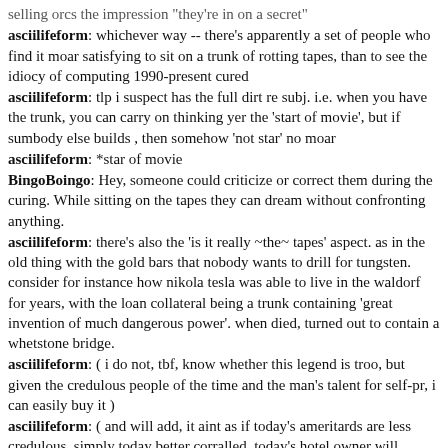selling orcs the impression "they're in on a secret"
asciilifeform: whichever way -- there's apparently a set of people who find it moar satisfying to sit on a trunk of rotting tapes, than to see the idiocy of computing 1990-present cured
asciilifeform: tlp i suspect has the full dirt re subj. i.e. when you have the trunk, you can carry on thinking yer the 'start of movie', but if sumbody else builds , then somehow 'not star' no moar
asciilifeform: *star of movie
BingoBoingo: Hey, someone could criticize or correct them during the curing. While sitting on the tapes they can dream without confronting anything.
asciilifeform: there's also the 'is it really ~the~ tapes' aspect. as in the old thing with the gold bars that nobody wants to drill for tungsten. consider for instance how nikola tesla was able to live in the waldorf for years, with the loan collateral being a trunk containing 'great invention of much dangerous power'. when died, turned out to contain a whetstone bridge.
asciilifeform: ( i do not, tbf, know whether this legend is troo, but given the credulous people of the time and the man's talent for self-pr, i can easily buy it )
asciilifeform: ( and will add, it aint as if today's ameritards are less credulous. simply today better corralled, today's hotel owner will equally idiotically invest in usg bonds, rather than tesla's trunk, is all )
asciilifeform: 'the bezzle' is prolly as old as all of culture.